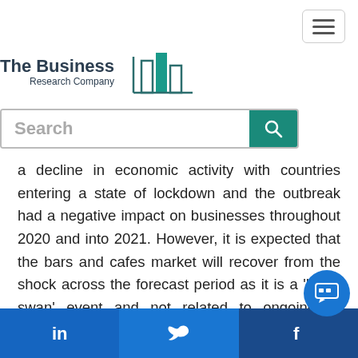[Figure (logo): The Business Research Company logo with bar chart icon]
Search
a decline in economic activity with countries entering a state of lockdown and the outbreak had a negative impact on businesses throughout 2020 and into 2021. However, it is expected that the bars and cafes market will recover from the shock across the forecast period as it is a 'black swan' event and not related to ongoing or fundamental weaknesses in the market or the global economy.
Technological advances are enabling beverage serving companies to deliver customized, convenient, fo...
[Figure (screenshot): Social media share bar at bottom with LinkedIn, Twitter, Facebook icons and chat bubble]